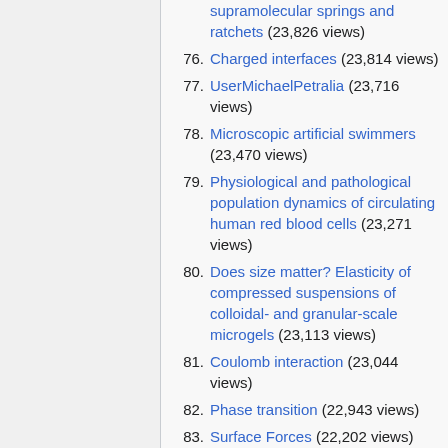supramolecular springs and ratchets (23,826 views)
76. Charged interfaces (23,814 views)
77. UserMichaelPetralia (23,716 views)
78. Microscopic artificial swimmers (23,470 views)
79. Physiological and pathological population dynamics of circulating human red blood cells (23,271 views)
80. Does size matter? Elasticity of compressed suspensions of colloidal- and granular-scale microgels (23,113 views)
81. Coulomb interaction (23,044 views)
82. Phase transition (22,943 views)
83. Surface Forces (22,202 views)
84. Phase Behavior and Rheology of